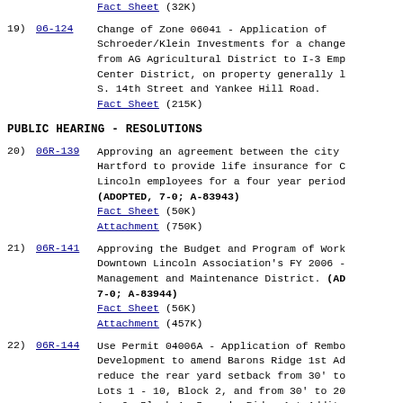Fact Sheet (32K)
19) 06-124 Change of Zone 06041 - Application of Schroeder/Klein Investments for a change from AG Agricultural District to I-3 Emp Center District, on property generally l S. 14th Street and Yankee Hill Road. Fact Sheet (215K)
PUBLIC HEARING - RESOLUTIONS
20) 06R-139 Approving an agreement between the city Hartford to provide life insurance for C Lincoln employees for a four year period (ADOPTED, 7-0; A-83943) Fact Sheet (50K) Attachment (750K)
21) 06R-141 Approving the Budget and Program of Work Downtown Lincoln Association's FY 2006 - Management and Maintenance District. (ADOPTED, 7-0; A-83944) Fact Sheet (56K) Attachment (457K)
22) 06R-144 Use Permit 04006A - Application of Rembo Development to amend Barons Ridge 1st Ad reduce the rear yard setback from 30' to Lots 1 - 10, Block 2, and from 30' to 20 1 - 9, Block 1, Baron's Ridge 1st Addit